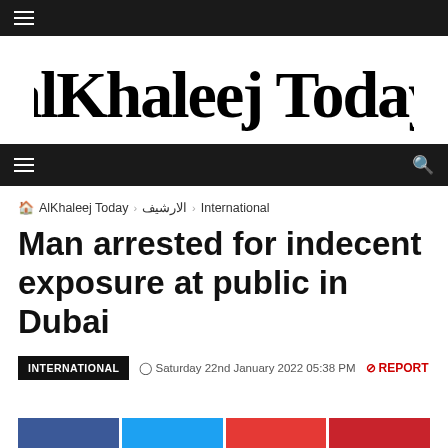≡
[Figure (logo): alKhaleej Today newspaper logo in blackletter/Old English style typography]
≡  🔍
🏠 AlKhaleej Today › الارشيف › International
Man arrested for indecent exposure at public in Dubai
INTERNATIONAL  ⊙ Saturday 22nd January 2022 05:38 PM  ⊘ REPORT